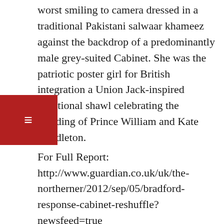worst smiling to camera dressed in a traditional Pakistani salwaar khameez against the backdrop of a predominantly male grey-suited Cabinet. She was the patriotic poster girl for British integration a Union Jack-inspired traditional shawl celebrating the wedding of Prince William and Kate Middleton.
For Full Report: http://www.guardian.co.uk/uk/the-northerner/2012/sep/05/bradford-response-cabinet-reshuffle?newsfeed=true
---------
First practising female Muslim Crown attorney wants to carve her own niche
By Craig Pearson, The Windsor Star September 6,